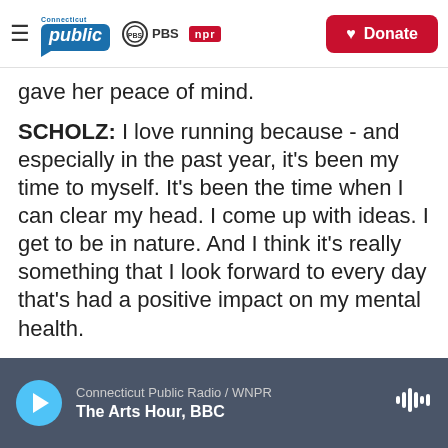Connecticut Public | PBS | NPR | Donate
gave her peace of mind.
SCHOLZ: I love running because - and especially in the past year, it's been my time to myself. It's been the time when I can clear my head. I come up with ideas. I get to be in nature. And I think it's really something that I look forward to every day that's had a positive impact on my mental health.
GARCIA-NAVARRO: She said the pandemic gave her an opportunity to hone her favorite activity.
Connecticut Public Radio / WNPR | The Arts Hour, BBC